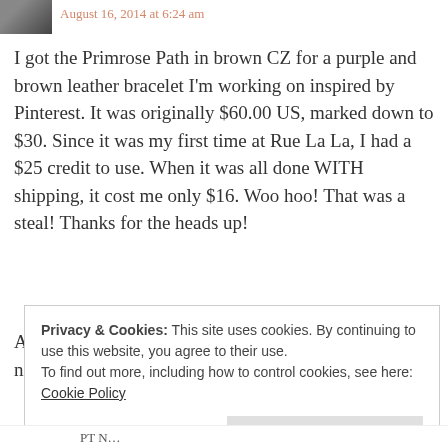[Figure (photo): Small avatar photo of a person in the upper left corner]
August 16, 2014 at 6:24 am
I got the Primrose Path in brown CZ for a purple and brown leather bracelet I'm working on inspired by Pinterest. It was originally $60.00 US, marked down to $30. Since it was my first time at Rue La La, I had a $25 credit to use. When it was all done WITH shipping, it cost me only $16. Woo hoo! That was a steal! Thanks for the heads up!
As of this evening, there is a lot sold out, but still some nice charms available.
Privacy & Cookies: This site uses cookies. By continuing to use this website, you agree to their use.
To find out more, including how to control cookies, see here: Cookie Policy
Close and accept
PT N...